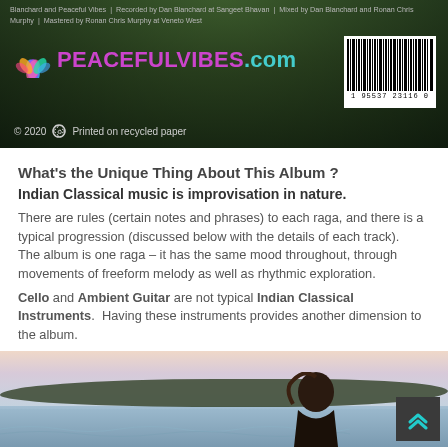[Figure (photo): CD album back cover with dark jungle/forest background showing PeacefulVibes.com logo with lotus flower graphic, copyright 2020, printed on recycled paper notice, and barcode. Credits text at top mentions Dan Blanchard and Peaceful Vibes, recorded at Sangeet Bhavan, mixed and mastered by Ronan Chris Murphy.]
What's the Unique Thing About This Album ?
Indian Classical music is improvisation in nature.
There are rules (certain notes and phrases) to each raga, and there is a typical progression (discussed below with the details of each track).
The album is one raga – it has the same mood throughout, through movements of freeform melody as well as rhythmic exploration.
Cello and Ambient Guitar are not typical Indian Classical Instruments.  Having these instruments provides another dimension to the album.
[Figure (photo): Landscape photo showing a river or lake scene at dusk/dawn with soft pink and blue sky, silhouette of trees in background, and a person with dark hair visible in the lower right. A dark square button with teal chevrons (back to top) is overlaid in the bottom right corner.]